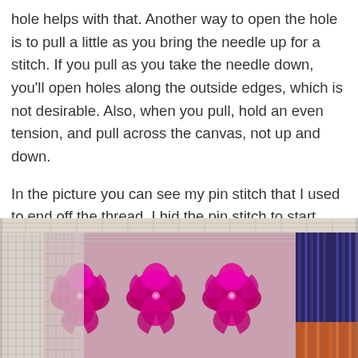hole helps with that. Another way to open the hole is to pull a little as you bring the needle up for a stitch. If you pull as you take the needle down, you'll open holes along the outside edges, which is not desirable. Also, when you pull, hold an even tension, and pull across the canvas, not up and down.
In the picture you can see my pin stitch that I used to end off the thread. I hid the pin stitch to start under one of the first eyelets. The open areas will be covered by the next stitches, so it was fine to put the ending pin stitch there instead of trying to bury it under the existing stitches.
[Figure (photo): Close-up photograph of needlework/embroidery on canvas showing magenta/pink decorative stitches with floral or leaf patterns, with blue and orange thread visible at the right edge. The canvas mesh is visible in unworked areas.]